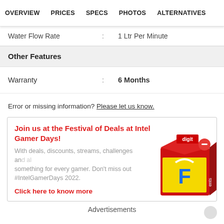OVERVIEW   PRICES   SPECS   PHOTOS   ALTERNATIVES
| Attribute |  | Value |
| --- | --- | --- |
| Water Flow Rate | : | 1 Ltr Per Minute |
Other Features
| Attribute |  | Value |
| --- | --- | --- |
| Warranty | : | 6 Months |
Error or missing information? Please let us know.
[Figure (infographic): Advertisement banner for Intel Gamer Days Festival of Deals featuring Flipkart branding with a red shopping bag/box illustration]
Advertisements